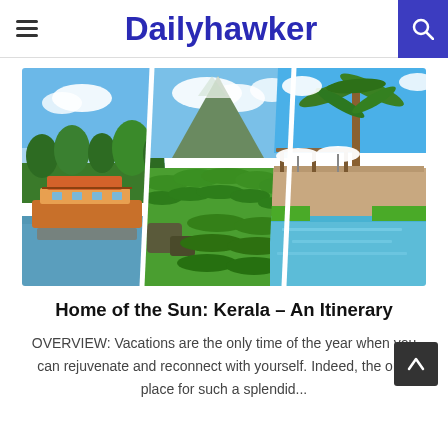Dailyhawker
[Figure (photo): Collage of three Kerala travel photos: a houseboat on backwaters, green tea plantation with mountain, and a resort pool with palm trees]
Home of the Sun: Kerala – An Itinerary
OVERVIEW: Vacations are the only time of the year when you can rejuvenate and reconnect with yourself. Indeed, the only place for such a splendid...